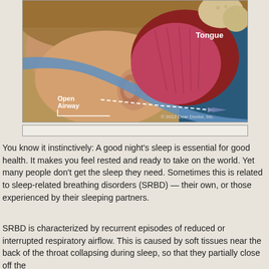[Figure (illustration): Medical illustration of an open airway during sleep showing the tongue, throat anatomy, and a blue arrow indicating airflow. Labels read 'Open Airway' and 'Tongue'. Copyright 2012 Dear Doctor, Inc.]
You know it instinctively: A good night's sleep is essential for good health. It makes you feel rested and ready to take on the world. Yet many people don't get the sleep they need. Sometimes this is related to sleep-related breathing disorders (SRBD) — their own, or those experienced by their sleeping partners.
SRBD is characterized by recurrent episodes of reduced or interrupted respiratory airflow. This is caused by soft tissues near the back of the throat collapsing during sleep, so that they partially close off the